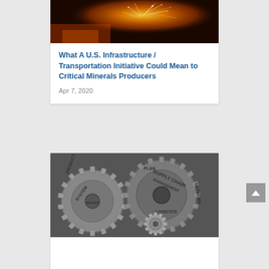[Figure (photo): Industrial photo showing sparks flying in a dark factory setting, orange and bright metallic sparks scattered across the frame]
What A U.S. Infrastructure / Transportation Initiative Could Mean to Critical Minerals Producers
Apr 7, 2020
[Figure (photo): Black and white photo of interlocking metal gears with words engraved: SYSTEM, PRODUCT, SUPPLY CHAIN MANAGEMENT, PLAN, NETWORK, PROFIT, LOGISTICS]